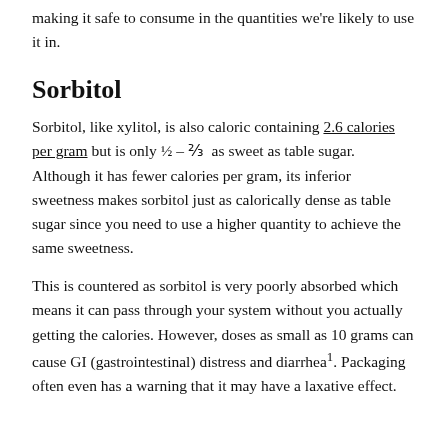making it safe to consume in the quantities we're likely to use it in.
Sorbitol
Sorbitol, like xylitol, is also caloric containing 2.6 calories per gram but is only ½ – ⅔ as sweet as table sugar. Although it has fewer calories per gram, its inferior sweetness makes sorbitol just as calorically dense as table sugar since you need to use a higher quantity to achieve the same sweetness.
This is countered as sorbitol is very poorly absorbed which means it can pass through your system without you actually getting the calories. However, doses as small as 10 grams can cause GI (gastrointestinal) distress and diarrhea¹. Packaging often even has a warning that it may have a laxative effect.